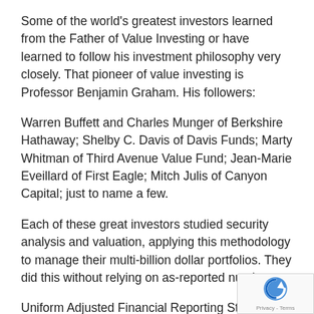Some of the world's greatest investors learned from the Father of Value Investing or have learned to follow his investment philosophy very closely. That pioneer of value investing is Professor Benjamin Graham. His followers:
Warren Buffett and Charles Munger of Berkshire Hathaway; Shelby C. Davis of Davis Funds; Marty Whitman of Third Avenue Value Fund; Jean-Marie Eveillard of First Eagle; Mitch Julis of Canyon Capital; just to name a few.
Each of these great investors studied security analysis and valuation, applying this methodology to manage their multi-billion dollar portfolios. They did this without relying on as-reported numbers.
Uniform Adjusted Financial Reporting Standards (UAFRS or Uniform Accounting) is an